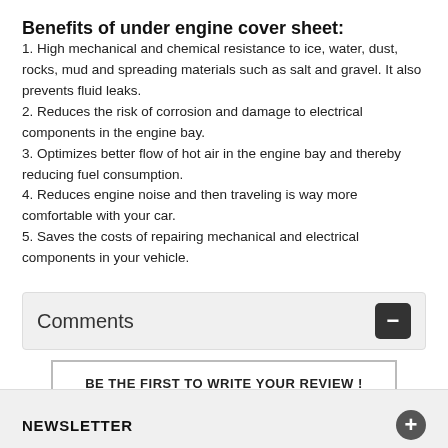Benefits of under engine cover sheet:
1. High mechanical and chemical resistance to ice, water, dust, rocks, mud and spreading materials such as salt and gravel. It also prevents fluid leaks.
2. Reduces the risk of corrosion and damage to electrical components in the engine bay.
3. Optimizes better flow of hot air in the engine bay and thereby reducing fuel consumption.
4. Reduces engine noise and then traveling is way more comfortable with your car.
5. Saves the costs of repairing mechanical and electrical components in your vehicle.
Comments
BE THE FIRST TO WRITE YOUR REVIEW !
NEWSLETTER